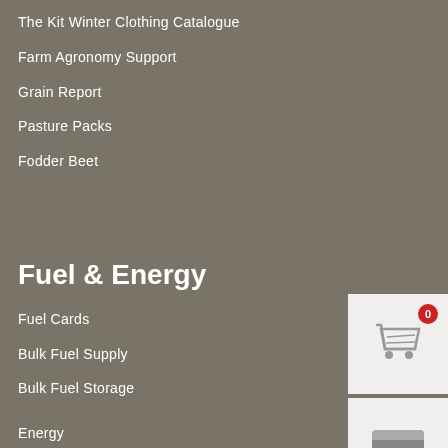The Kit Winter Clothing Catalogue
Farm Agronomy Support
Grain Report
Pasture Packs
Fodder Beet
[Figure (illustration): Shopping cart icon with red badge showing 0]
Fuel & Energy
Fuel Cards
[Figure (illustration): Credit/fuel card icon]
Bulk Fuel Supply
Bulk Fuel Storage
[Figure (illustration): Sun and clouds weather/energy icon]
Energy
Join Us
As a Member
[Figure (illustration): Share/join circular arrow icon]
As a Retail Merchant